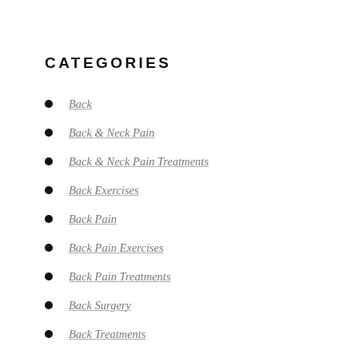CATEGORIES
Back
Back & Neck Pain
Back & Neck Pain Treatments
Back Exercises
Back Pain
Back Pain Exercises
Back Pain Treatments
Back Surgery
Back Treatments
Events
Miscellaneous
Neck Pain